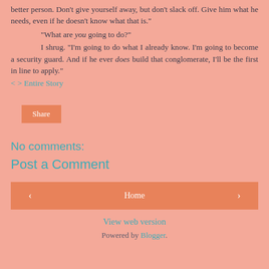better person. Don’t give yourself away, but don’t slack off. Give him what he needs, even if he doesn’t know what that is.”
“What are you going to do?”
I shrug. “I’m going to do what I already know. I’m going to become a security guard. And if he ever does build that conglomerate, I’ll be the first in line to apply.”
< > Entire Story
Share
No comments:
Post a Comment
< Home >
View web version
Powered by Blogger.